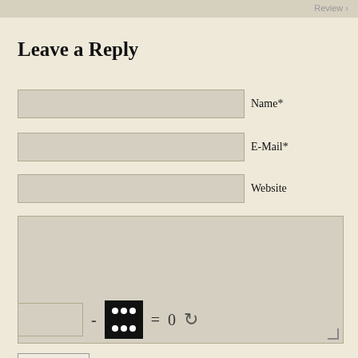Review
Leave a Reply
Name*
E-Mail*
Website
[Figure (other): Comment text area input field]
[Figure (other): CAPTCHA row: input box - dice image = 0 with refresh icon]
Publish